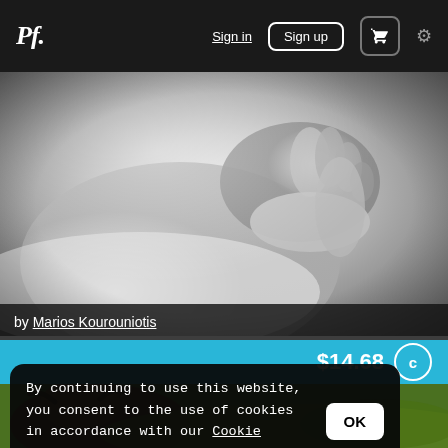Pf. | Sign in | Sign up | Cart | Settings
[Figure (photo): Black and white close-up photograph of a newborn baby being held, showing baby's feet and hands gripping an adult's finger.]
by Marios Kourouniotis
$14.68
[Figure (photo): Partial view of an animal (appears to be a bison or similar horned animal) in a green outdoor setting.]
By continuing to use this website, you consent to the use of cookies in accordance with our Cookie Policy.
OK